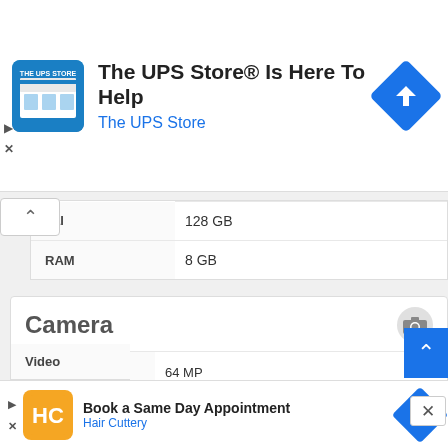[Figure (screenshot): UPS Store advertisement banner with store icon, title 'The UPS Store® Is Here To Help', subtitle 'The UPS Store', and navigation arrow icon]
|  |  |
| --- | --- |
| nal | 128 GB |
| RAM | 8 GB |
Camera
|  |  |
| --- | --- |
| Primary camera | 64 MP
8 MP
2 MP |
| Secondary camera | 16 MP |
| Features | LED flash, panorama, HDR
HDR |
| Video |  |
[Figure (screenshot): Hair Cuttery advertisement banner with HC logo, 'Book a Same Day Appointment', 'Hair Cuttery', and navigation arrow icon]